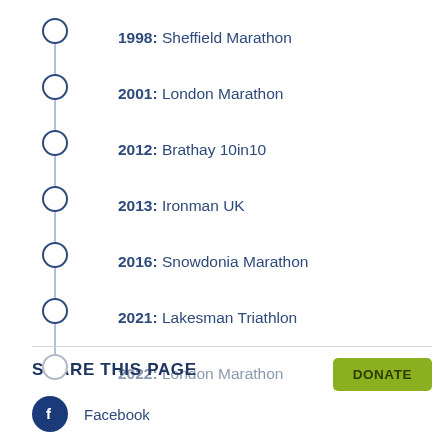1998: Sheffield Marathon
2001: London Marathon
2012: Brathay 10in10
2013: Ironman UK
2016: Snowdonia Marathon
2021: Lakesman Triathlon
2022: London Marathon
SHARE THIS PAGE
Facebook